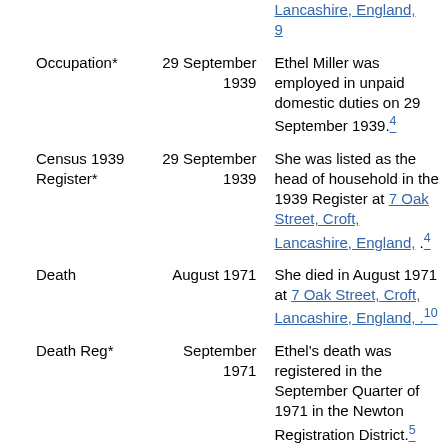| Event | Date | Details |
| --- | --- | --- |
|  |  | Lancashire, England, .9 |
| Occupation* | 29 September 1939 | Ethel Miller was employed in unpaid domestic duties on 29 September 1939.4 |
| Census 1939 Register* | 29 September 1939 | She was listed as the head of household in the 1939 Register at 7 Oak Street, Croft, Lancashire, England, .4 |
| Death | August 1971 | She died in August 1971 at 7 Oak Street, Croft, Lancashire, England, .10 |
| Death Reg* | September 1971 | Ethel's death was registered in the September Quarter of 1971 in the Newton Registration District.5 |
| Burial* | 13 August 1971 | She was buried on 13 August 1971 at Christ Church, Croft |